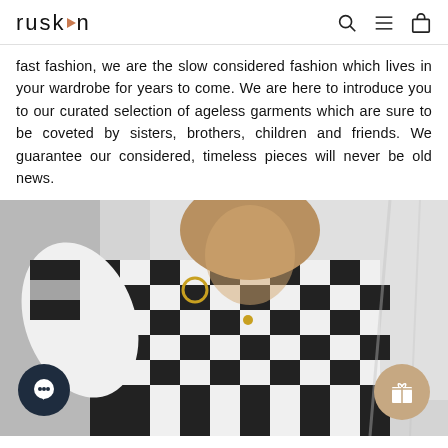ruskin
fast fashion, we are the slow considered fashion which lives in your wardrobe for years to come. We are here to introduce you to our curated selection of ageless garments which are sure to be coveted by sisters, brothers, children and friends. We guarantee our considered, timeless pieces will never be old news.
[Figure (photo): A woman wearing a black and white gingham check long-sleeve dress, posing with one arm raised, gold hoop earring and necklace visible, against a light grey background. A dark chat bubble icon is in the bottom left corner and a beige gift icon bubble is in the bottom right corner.]